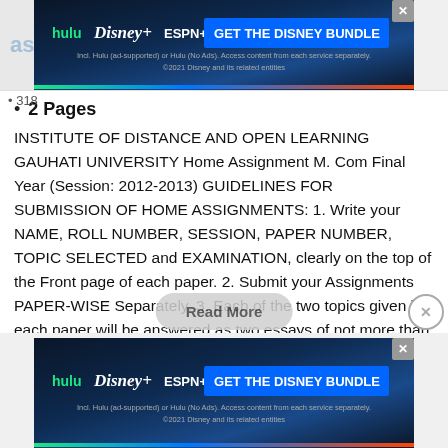[Figure (screenshot): Hulu Disney+ ESPN+ GET THE DISNEY BUNDLE advertisement banner at top]
2 Pages
INSTITUTE OF DISTANCE AND OPEN LEARNING GAUHATI UNIVERSITY Home Assignment M. Com Final Year (Session: 2012-2013) GUIDELINES FOR SUBMISSION OF HOME ASSIGNMENTS: 1. Write your NAME, ROLL NUMBER, SESSION, PAPER NUMBER, TOPIC SELECTED and EXAMINATION, clearly on the top of the Front page of each paper. 2. Submit your Assignments PAPER-WISE Separately. 3. Each of the two topics given in each paper will be answered as two essays of not more than 500 words each. There will be negative marking…
[Figure (screenshot): Hulu Disney+ ESPN+ GET THE DISNEY BUNDLE advertisement banner at bottom]